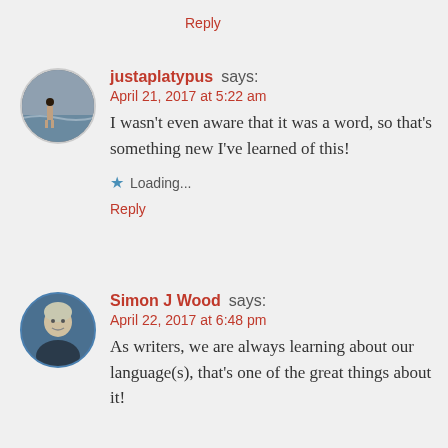Reply
justaplatypus says:
April 21, 2017 at 5:22 am
I wasn't even aware that it was a word, so that's something new I've learned of this!
Loading...
Reply
Simon J Wood says:
April 22, 2017 at 6:48 pm
As writers, we are always learning about our language(s), that's one of the great things about it!